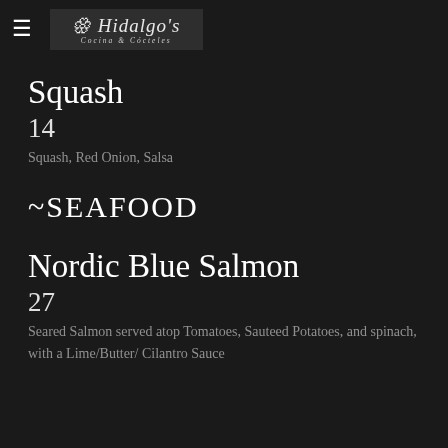Hidalgo's Cocina & Cócteles
Squash
14
Squash, Red Onion, Salsa
~SEAFOOD
Nordic Blue Salmon
27
Seared Salmon served atop Tomatoes, Sauteed Potatoes, and spinach, with a Lime/Butter/ Cilantro Sauce